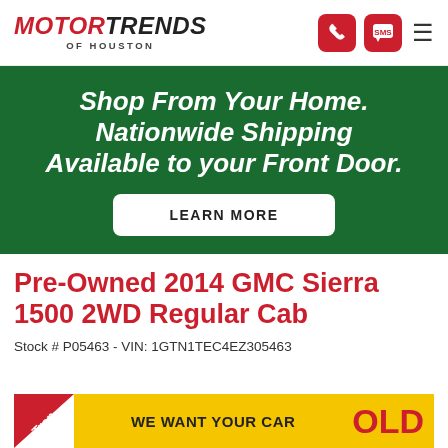MOTOR TRENDS OF HOUSTON
[Figure (infographic): Green banner: Shop From Your Home. Nationwide Shipping Available to your Front Door. LEARN MORE button.]
Pre-Owned 2014 GMC Sierra 1500 2WD Regular Cab
Stock # P05463 - VIN: 1GTN1TEC4EZ305463
[Figure (infographic): Bottom ad bar: Trap diagonal red badge, WE WANT YOUR CAR in yellow, OLD text in red]